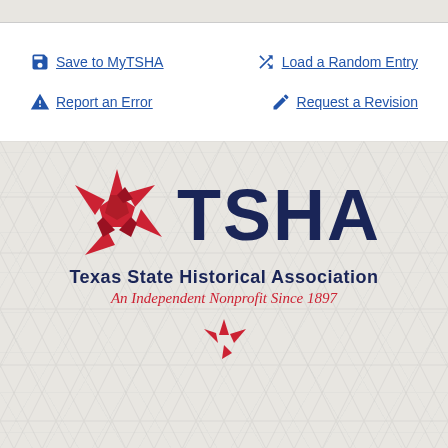Save to MyTSHA
Load a Random Entry
Report an Error
Request a Revision
[Figure (logo): Texas State Historical Association (TSHA) logo with red star graphic, bold navy TSHA text, organization name 'Texas State Historical Association' in navy, and tagline 'An Independent Nonprofit Since 1897' in red italic]